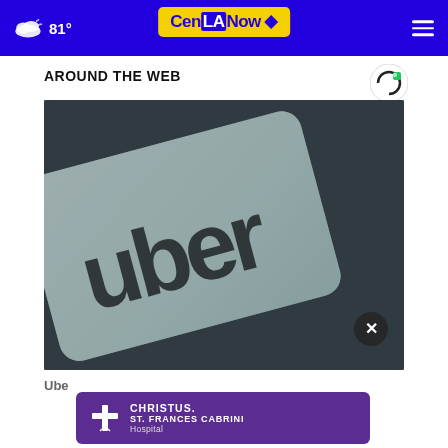81° CenLANow
AROUND THE WEB
[Figure (photo): Close-up photo of an Uber logo card on a dark surface]
Ube
[Figure (logo): CHRISTUS ST. FRANCES CABRINI Hospital advertisement banner]